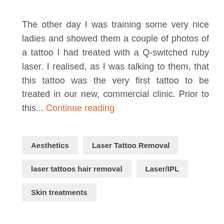The other day I was training some very nice ladies and showed them a couple of photos of a tattoo I had treated with a Q-switched ruby laser. I realised, as I was talking to them, that this tattoo was the very first tattoo to be treated in our new, commercial clinic. Prior to this... Continue reading
Aesthetics
Laser Tattoo Removal
laser tattoos hair removal
Laser/IPL
Skin treatments